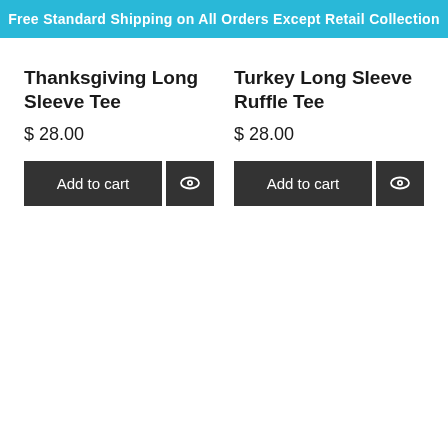Free Standard Shipping on All Orders Except Retail Collection
Thanksgiving Long Sleeve Tee
$ 28.00
Turkey Long Sleeve Ruffle Tee
$ 28.00